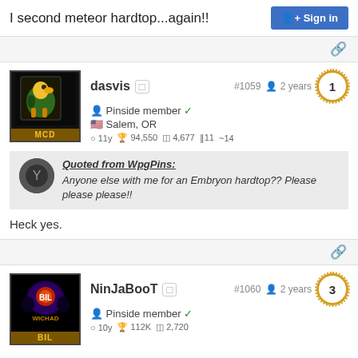I second meteor hardtop...again!!
Sign in
dasvis #1059 2 years
Pinside member Salem, OR
11y 94,550 4,677 11 14
Quoted from WpgPins: Anyone else with me for an Embryon hardtop?? Please please please!!
Heck yes.
NinJaBooT #1060 2 years
Pinside member
10y 112K 2,720